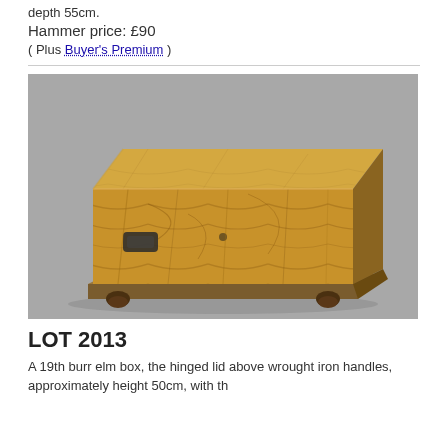depth 55cm.
Hammer price: £90
( Plus Buyer's Premium )
[Figure (photo): Photograph of a 19th century burr elm box with hinged lid, wrought iron handles, sitting on small bun feet, shown at an angle on a grey background.]
LOT 2013
A 19th burr elm box, the hinged lid above wrought iron handles, approximately height 50cm, width th...